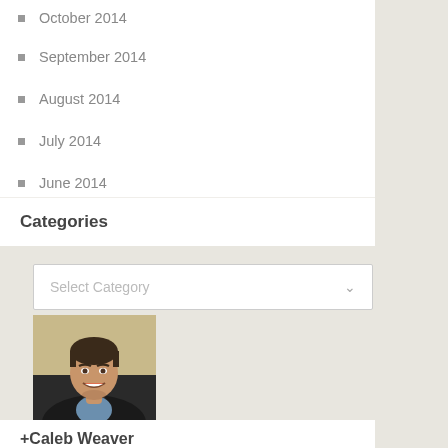October 2014
September 2014
August 2014
July 2014
June 2014
March 2014
Categories
[Figure (screenshot): Select Category dropdown widget]
[Figure (photo): Headshot of a smiling man in a dark blazer with short dark hair]
+Caleb Weaver